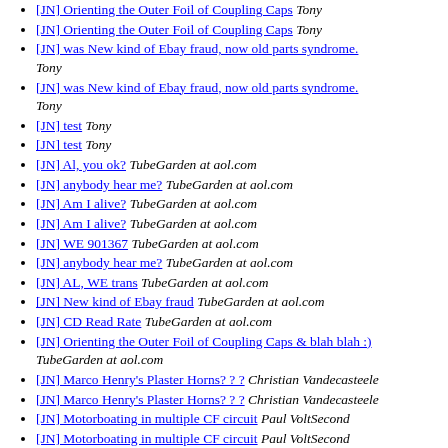[JN] Orienting the Outer Foil of Coupling Caps  Tony
[JN] Orienting the Outer Foil of Coupling Caps  Tony
[JN] was New kind of Ebay fraud, now old parts syndrome.  Tony
[JN] was New kind of Ebay fraud, now old parts syndrome.  Tony
[JN] test  Tony
[JN] test  Tony
[JN] Al, you ok?  TubeGarden at aol.com
[JN] anybody hear me?  TubeGarden at aol.com
[JN] Am I alive?  TubeGarden at aol.com
[JN] Am I alive?  TubeGarden at aol.com
[JN] WE 901367  TubeGarden at aol.com
[JN] anybody hear me?  TubeGarden at aol.com
[JN] AL, WE trans  TubeGarden at aol.com
[JN] New kind of Ebay fraud  TubeGarden at aol.com
[JN] CD Read Rate  TubeGarden at aol.com
[JN] Orienting the Outer Foil of Coupling Caps & blah blah :)  TubeGarden at aol.com
[JN] Marco Henry's Plaster Horns? ? ?  Christian Vandecasteele
[JN] Marco Henry's Plaster Horns? ? ?  Christian Vandecasteele
[JN] Motorboating in multiple CF circuit  Paul VoltSecond
[JN] Motorboating in multiple CF circuit  Paul VoltSecond